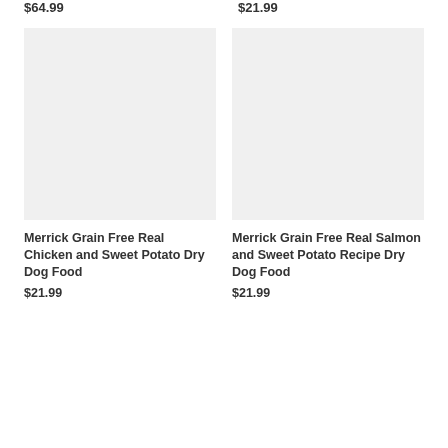$64.99
$21.99
[Figure (photo): Product image placeholder (light gray box) for Merrick Grain Free Real Chicken and Sweet Potato Dry Dog Food]
Merrick Grain Free Real Chicken and Sweet Potato Dry Dog Food
$21.99
[Figure (photo): Product image placeholder (light gray box) for Merrick Grain Free Real Salmon and Sweet Potato Recipe Dry Dog Food]
Merrick Grain Free Real Salmon and Sweet Potato Recipe Dry Dog Food
$21.99